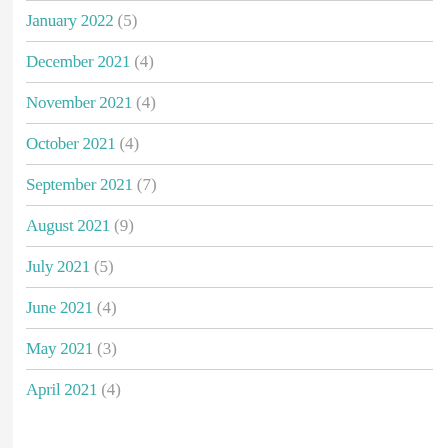January 2022 (5)
December 2021 (4)
November 2021 (4)
October 2021 (4)
September 2021 (7)
August 2021 (9)
July 2021 (5)
June 2021 (4)
May 2021 (3)
April 2021 (4)